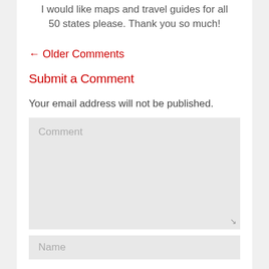I would like maps and travel guides for all 50 states please. Thank you so much!
← Older Comments
Submit a Comment
Your email address will not be published.
Comment
Name